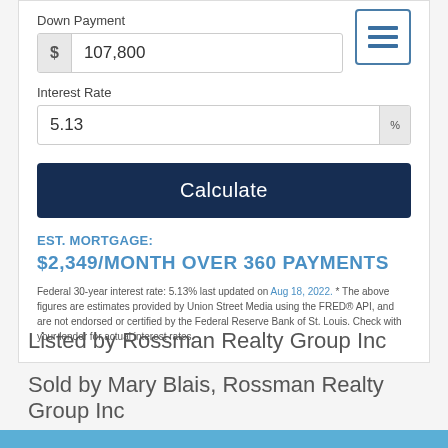Down Payment
107,800
Interest Rate
5.13
Calculate
EST. MORTGAGE:
$2,349/MONTH OVER 360 PAYMENTS
Federal 30-year interest rate: 5.13% last updated on Aug 18, 2022. * The above figures are estimates provided by Union Street Media using the FRED® API, and are not endorsed or certified by the Federal Reserve Bank of St. Louis. Check with your lender for actual interest rates.
Listed by Rossman Realty Group Inc
Sold by Mary Blais, Rossman Realty Group Inc